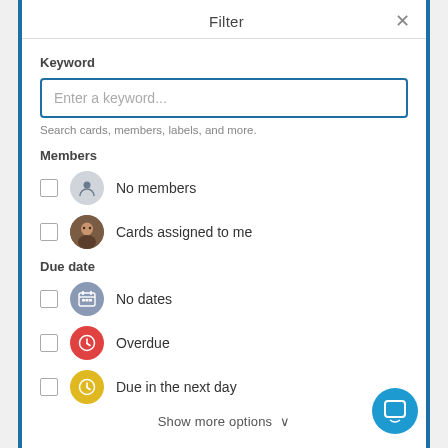Filter
Keyword
Enter a keyword...
Search cards, members, labels, and more.
Members
No members
Cards assigned to me
Due date
No dates
Overdue
Due in the next day
Show more options